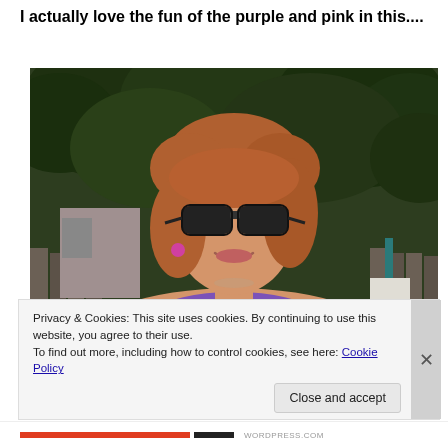I actually love the fun of the purple and pink in this....
[Figure (photo): Woman with red/auburn short hair wearing black sunglasses and a purple sleeveless top with jeweled neckline, smiling outdoors in front of green trees and a wooden fence. Magenta/pink earrings visible.]
Privacy & Cookies: This site uses cookies. By continuing to use this website, you agree to their use.
To find out more, including how to control cookies, see here: Cookie Policy
Close and accept